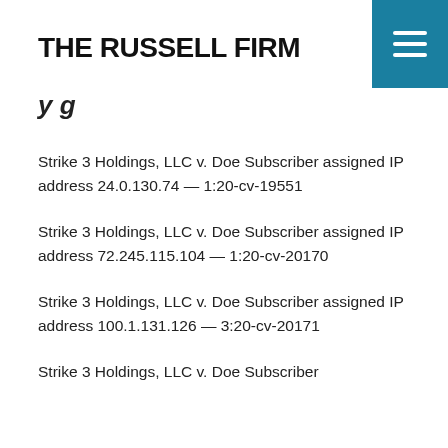THE RUSSELL FIRM
ys
Strike 3 Holdings, LLC v. Doe Subscriber assigned IP address 24.0.130.74 — 1:20-cv-19551
Strike 3 Holdings, LLC v. Doe Subscriber assigned IP address 72.245.115.104 — 1:20-cv-20170
Strike 3 Holdings, LLC v. Doe Subscriber assigned IP address 100.1.131.126 — 3:20-cv-20171
Strike 3 Holdings, LLC v. Doe Subscriber